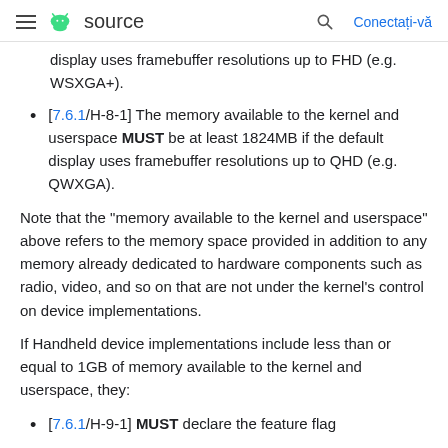≡ 🤖 source   🔍   Conectați-vă
display uses framebuffer resolutions up to FHD (e.g. WSXGA+).
[7.6.1/H-8-1] The memory available to the kernel and userspace MUST be at least 1824MB if the default display uses framebuffer resolutions up to QHD (e.g. QWXGA).
Note that the "memory available to the kernel and userspace" above refers to the memory space provided in addition to any memory already dedicated to hardware components such as radio, video, and so on that are not under the kernel's control on device implementations.
If Handheld device implementations include less than or equal to 1GB of memory available to the kernel and userspace, they:
[7.6.1/H-9-1] MUST declare the feature flag